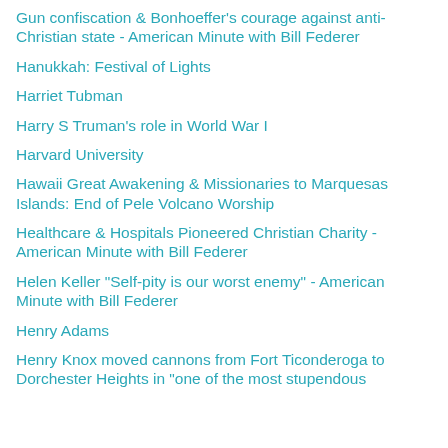Gun confiscation & Bonhoeffer's courage against anti-Christian state - American Minute with Bill Federer
Hanukkah: Festival of Lights
Harriet Tubman
Harry S Truman's role in World War I
Harvard University
Hawaii Great Awakening & Missionaries to Marquesas Islands: End of Pele Volcano Worship
Healthcare & Hospitals Pioneered Christian Charity - American Minute with Bill Federer
Helen Keller "Self-pity is our worst enemy" - American Minute with Bill Federer
Henry Adams
Henry Knox moved cannons from Fort Ticonderoga to Dorchester Heights in "one of the most stupendous